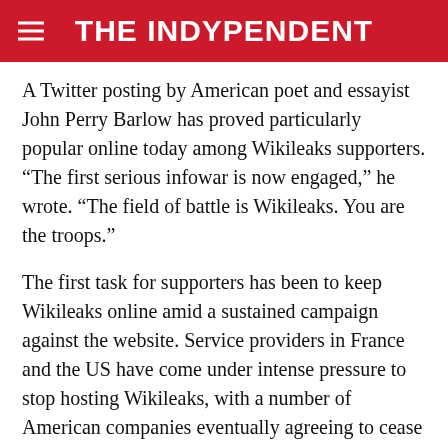THE INDYPENDENT
A Twitter posting by American poet and essayist John Perry Barlow has proved particularly popular online today among Wikileaks supporters. “The first serious infowar is now engaged,” he wrote. “The field of battle is Wikileaks. You are the troops.”
The first task for supporters has been to keep Wikileaks online amid a sustained campaign against the website. Service providers in France and the US have come under intense pressure to stop hosting Wikileaks, with a number of American companies eventually agreeing to cease co-operation.
PRQ, a Swedish-based internet service provider which specializes in hosting controversial sites, admitted today that its servers were running slowly after what it